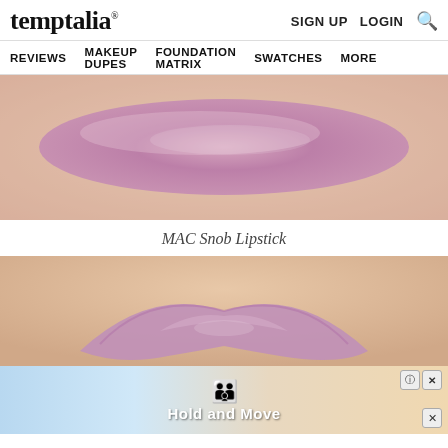temptalia® | SIGN UP  LOGIN  🔍
REVIEWS  MAKEUP DUPES  FOUNDATION MATRIX  SWATCHES  MORE
[Figure (photo): Closeup skin swatch of MAC Snob Lipstick showing a shimmer pink-mauve streak across fair skin]
MAC Snob Lipstick
[Figure (photo): Lips wearing MAC Snob Lipstick — a soft sheer pink-mauve shade on fair skin]
[Figure (screenshot): Advertisement banner with blue cartoon figures and text 'Hold and Move', with close/help buttons]